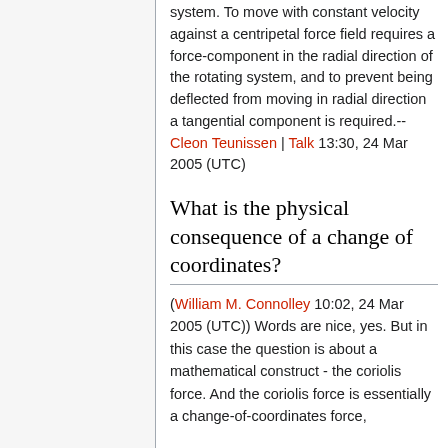system. To move with constant velocity against a centripetal force field requires a force-component in the radial direction of the rotating system, and to prevent being deflected from moving in radial direction a tangential component is required.--Cleon Teunissen | Talk 13:30, 24 Mar 2005 (UTC)
What is the physical consequence of a change of coordinates?
(William M. Connolley 10:02, 24 Mar 2005 (UTC)) Words are nice, yes. But in this case the question is about a mathematical construct - the coriolis force. And the coriolis force is essentially a change-of-coordinates force,